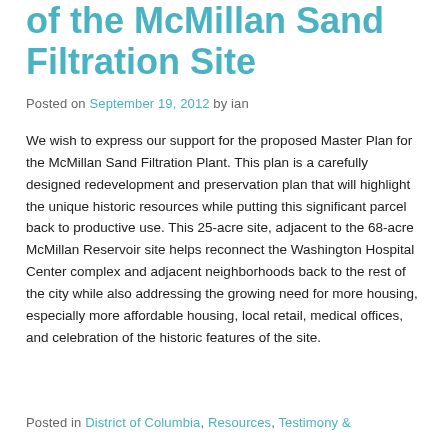of the McMillan Sand Filtration Site
Posted on September 19, 2012 by ian
We wish to express our support for the proposed Master Plan for the McMillan Sand Filtration Plant. This plan is a carefully designed redevelopment and preservation plan that will highlight the unique historic resources while putting this significant parcel back to productive use. This 25-acre site, adjacent to the 68-acre McMillan Reservoir site helps reconnect the Washington Hospital Center complex and adjacent neighborhoods back to the rest of the city while also addressing the growing need for more housing, especially more affordable housing, local retail, medical offices, and celebration of the historic features of the site.
Posted in District of Columbia, Resources, Testimony &